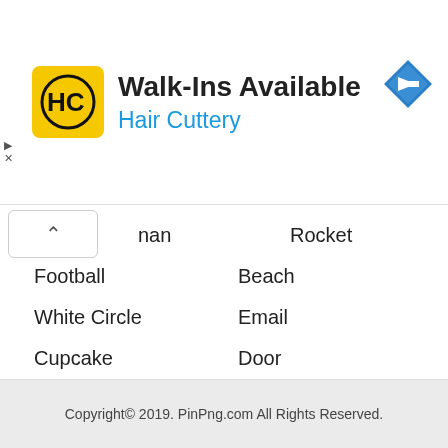[Figure (screenshot): Hair Cuttery advertisement banner: HC logo on yellow background, text 'Walk-Ins Available' in bold black, 'Hair Cuttery' in blue, blue diamond navigation icon on the right, play and close controls on the left edge.]
man
Rocket
Football
Beach
White Circle
Email
Cupcake
Door
Calendar
Donald Trump
Stop Sign
Facebook
Sparks
Bow
Baby
Copyright© 2019. PinPng.com All Rights Reserved.